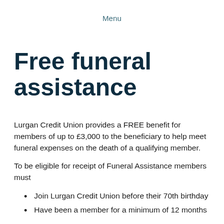Menu
Free funeral assistance
Lurgan Credit Union provides a FREE benefit for members of up to £3,000 to the beneficiary to help meet funeral expenses on the death of a qualifying member.
To be eligible for receipt of Funeral Assistance members must
Join Lurgan Credit Union before their 70th birthday
Have been a member for a minimum of 12 months